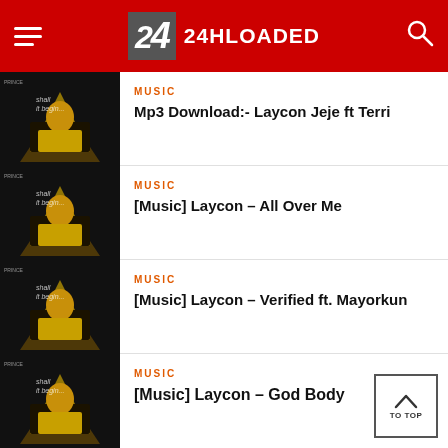24HLOADED
MUSIC
Mp3 Download:- Laycon Jeje ft Terri
MUSIC
[Music] Laycon – All Over Me
MUSIC
[Music] Laycon – Verified ft. Mayorkun
MUSIC
[Music] Laycon – God Body
[Figure (photo): Repeated thumbnail image of Laycon artist sitting at a desk with yellow stage lighting, dark moody background, text overlays reading 'shall it begin']